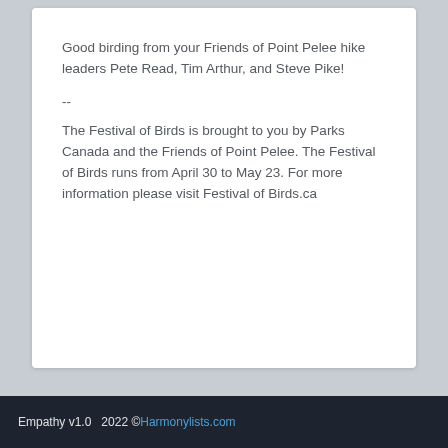Good birding from your Friends of Point Pelee hike leaders Pete Read, Tim Arthur, and Steve Pike!
--
The Festival of Birds is brought to you by Parks Canada and the Friends of Point Pelee. The Festival of Birds runs from April 30 to May 23. For more information please visit Festival of Birds.ca
Empathy v1.0    2022 ©Harmonylists.com